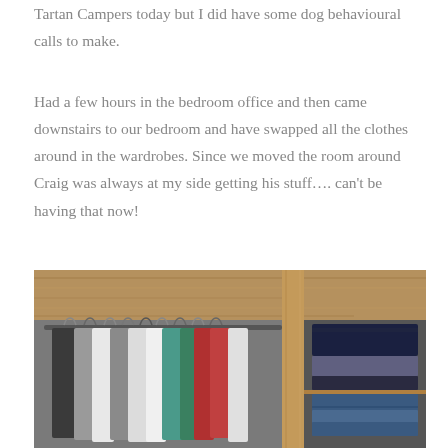Tartan Campers today but I did have some dog behavioural calls to make.
Had a few hours in the bedroom office and then came downstairs to our bedroom and have swapped all the clothes around in the wardrobes. Since we moved the room around Craig was always at my side getting his stuff…. can't be having that now!
[Figure (photo): Interior view of a wooden wardrobe with clothes hanging on a rail (colourful shirts and jackets) on the left side, and folded clothes stacked on a shelf on the right side, with a wooden ceiling visible above.]